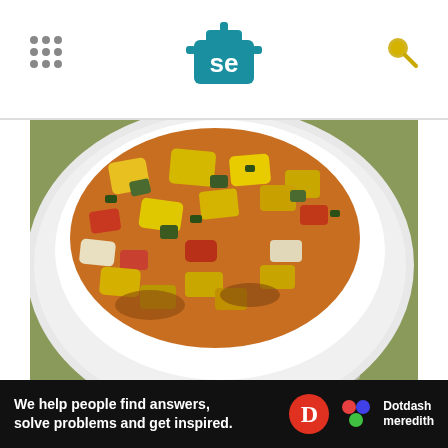Serious Eats header with logo, navigation grid, and search icon
[Figure (photo): Close-up photo of ratatouille in a white bowl — colorful diced summer vegetables (yellow squash, red peppers, onions, zucchini) in a rich sauce, on a green background with a fork visible.]
Before diving into cooking techniques, let's start by defining the dish. Ratatouille is a Mediterranean stew of summer vegetables that comes from the South of France (more specifically, Provence).
[Figure (infographic): Dotdash Meredith advertisement bar: 'We help people find answers, solve problems and get inspired.' with Dotdash D logo and Dotdash Meredith logo.]